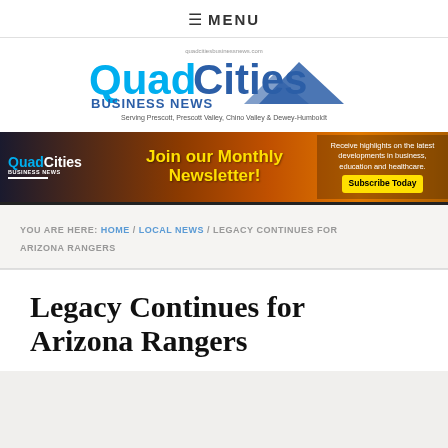≡ MENU
[Figure (logo): Quad Cities Business News logo with tagline: Serving Prescott, Prescott Valley, Chino Valley & Dewey-Humboldt]
[Figure (infographic): Quad Cities Business News banner ad: Join our Monthly Newsletter! Receive highlights on the latest developments in business, education and healthcare. Subscribe Today]
YOU ARE HERE: HOME / LOCAL NEWS / LEGACY CONTINUES FOR ARIZONA RANGERS
Legacy Continues for Arizona Rangers